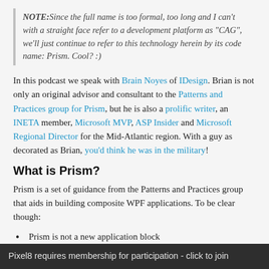NOTE: Since the full name is too formal, too long and I can't with a straight face refer to a development platform as "CAG", we'll just continue to refer to this technology herein by its code name: Prism. Cool? :)
In this podcast we speak with Brain Noyes of IDesign. Brian is not only an original advisor and consultant to the Patterns and Practices group for Prism, but he is also a prolific writer, an INETA member, Microsoft MVP, ASP Insider and Microsoft Regional Director for the Mid-Atlantic region. With a guy as decorated as Brian, you'd think he was in the military!
What is Prism?
Prism is a set of guidance from the Patterns and Practices group that aids in building composite WPF applications. To be clear though:
Prism is not a new application block
Prism is not a new framework
Prism is not designed only for unit testing (or test driven automation)
Pixel8 requires membership for participation - click to join